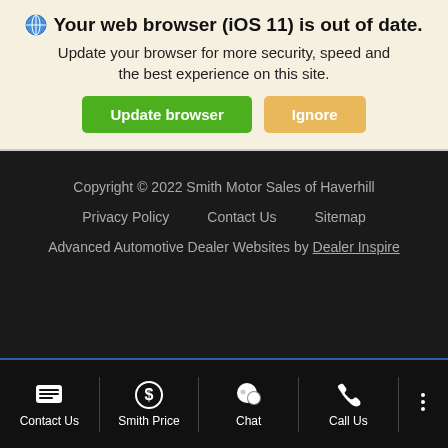🌐 Your web browser (iOS 11) is out of date. Update your browser for more security, speed and the best experience on this site. [Update browser] [Ignore]
Copyright © 2022 Smith Motor Sales of Haverhill
Privacy Policy    Contact Us    Sitemap
Advanced Automotive Dealer Websites by Dealer Inspire
Contact Us  Smith Price  Chat  Call Us  ...